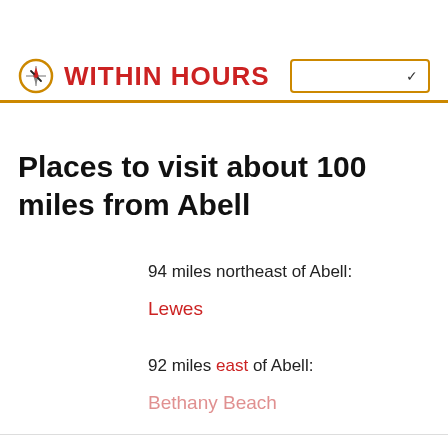WITHIN HOURS
Places to visit about 100 miles from Abell
94 miles northeast of Abell:
Lewes
92 miles east of Abell:
Bethany Beach